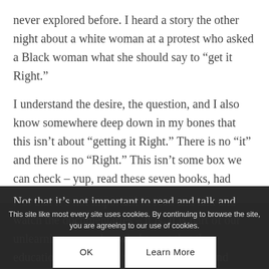never explored before. I heard a story the other night about a white woman at a protest who asked a Black woman what she should say to “get it Right.”
I understand the desire, the question, and I also know somewhere deep down in my bones that this isn’t about “getting it Right.” There is no “it” and there is no “Right.” This isn’t some box we can check – yup, read these seven books, had these important discussions, watched this documentary, I get it now.
Not that it’s not important to read and talk and watch the documentaries – it is. It is part of our unlearning, our acknowledgment that the education we received was whitewashed and carefully curated to present a particular viewpoint
This site like most every site uses cookies. By continuing to browse the site, you are agreeing to our use of cookies.